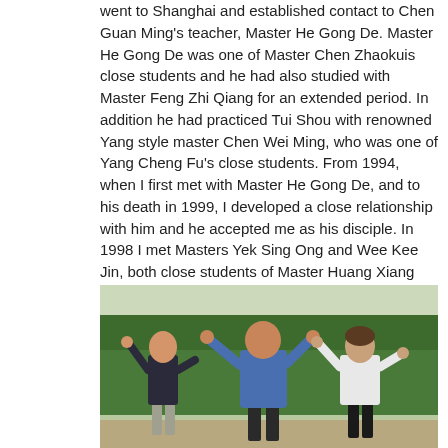went to Shanghai and established contact to Chen Guan Ming's teacher, Master He Gong De. Master He Gong De was one of Master Chen Zhaokuis close students and he had also studied with Master Feng Zhi Qiang for an extended period. In addition he had practiced Tui Shou with renowned Yang style master Chen Wei Ming, who was one of Yang Cheng Fu's close students. From 1994, when I first met with Master He Gong De, and to his death in 1999, I developed a close relationship with him and he accepted me as his disciple. In 1998 I met Masters Yek Sing Ong and Wee Kee Jin, both close students of Master Huang Xiang Xian. From 1999 – 2007 I was a close, private student of Wee Kee Jin, and continued having briefly contact to Yek Sing Ong and visited him whenever I was in New Zealand.
[Figure (photo): Three people practicing Tai Chi outdoors in front of green hedges. The person in the center wears a blue sweatshirt, the person on the left wears a dark top with grey trousers, and the person on the right wears a white jacket with dark trousers. All three have arms raised in a martial arts pose.]